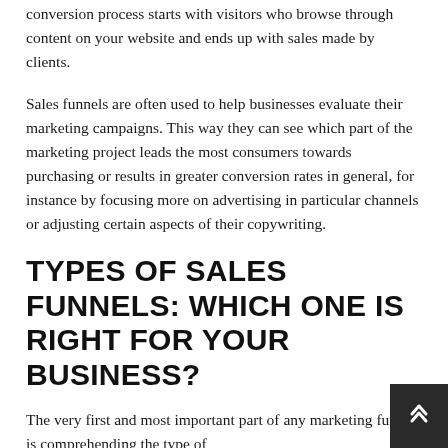conversion process starts with visitors who browse through content on your website and ends up with sales made by clients.
Sales funnels are often used to help businesses evaluate their marketing campaigns. This way they can see which part of the marketing project leads the most consumers towards purchasing or results in greater conversion rates in general, for instance by focusing more on advertising in particular channels or adjusting certain aspects of their copywriting.
TYPES OF SALES FUNNELS: WHICH ONE IS RIGHT FOR YOUR BUSINESS?
The very first and most important part of any marketing funnel is comprehending the type of